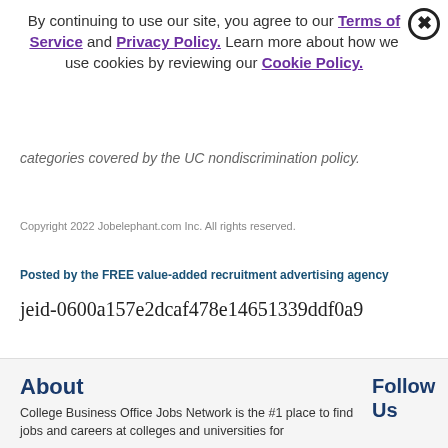By continuing to use our site, you agree to our Terms of Service and Privacy Policy. Learn more about how we use cookies by reviewing our Cookie Policy.
categories covered by the UC nondiscrimination policy.
Copyright 2022 Jobelephant.com Inc. All rights reserved.
Posted by the FREE value-added recruitment advertising agency
jeid-0600a157e2dcaf478e14651339ddf0a9
About
College Business Office Jobs Network is the #1 place to find jobs and careers at colleges and universities for
Follow Us